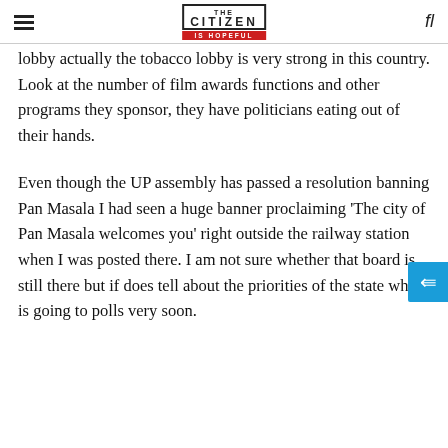THE CITIZEN IS HOPEFUL
lobby actually the tobacco lobby is very strong in this country. Look at the number of film awards functions and other programs they sponsor, they have politicians eating out of their hands.
Even though the UP assembly has passed a resolution banning Pan Masala I had seen a huge banner proclaiming 'The city of Pan Masala welcomes you' right outside the railway station when I was posted there. I am not sure whether that board is still there but if does tell about the priorities of the state which is going to polls very soon.